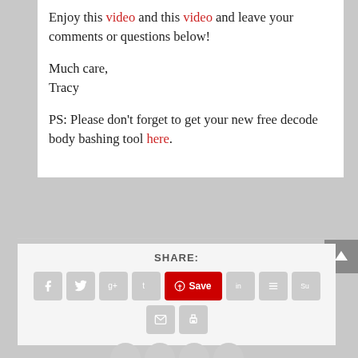Enjoy this video and this video and leave your comments or questions below!
Much care,
Tracy
PS: Please don't forget to get your new free decode body bashing tool here.
[Figure (screenshot): Social media share buttons row including Facebook, Twitter, Google+, Tumblr, Pinterest Save, LinkedIn, Buffer, StumbleUpon, Email, and Print icons, plus a scroll-to-top arrow button]
SHARE: